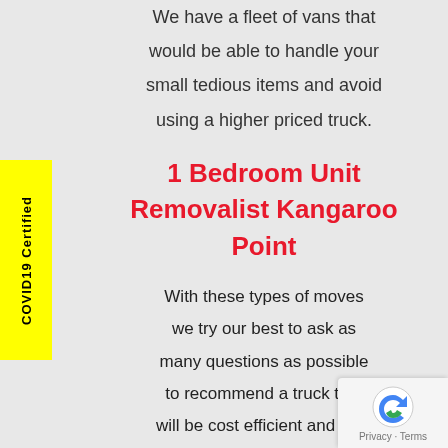We have a fleet of vans that would be able to handle your small tedious items and avoid using a higher priced truck.
1 Bedroom Unit Removalist Kangaroo Point
With these types of moves we try our best to ask as many questions as possible to recommend a truck that will be cost efficient and time efficient. Depending on the site of the place we have 2 different sized trucks that can cater for your move.